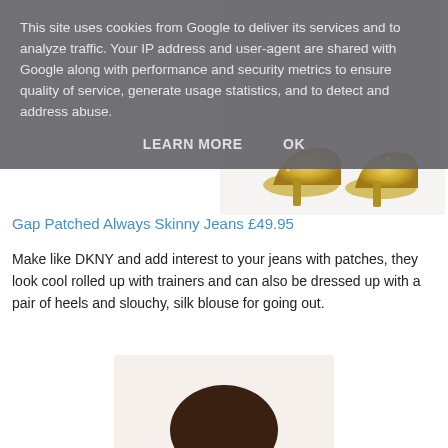This site uses cookies from Google to deliver its services and to analyze traffic. Your IP address and user-agent are shared with Google along with performance and security metrics to ensure quality of service, generate usage statistics, and to detect and address abuse.
LEARN MORE   OK
[Figure (photo): Partial view of glittery gold high-heel shoes at the bottom of the image area]
Gap Patched Always Skinny Jeans £49.95
Make like DKNY and add interest to your jeans with patches, they look cool rolled up with trainers and can also be dressed up with a pair of heels and slouchy, silk blouse for going out.
[Figure (photo): Young brunette female model smiling, shown from shoulders up, wearing a shirt/blouse]